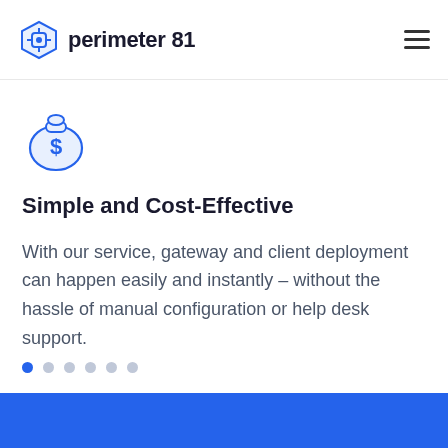perimeter 81
[Figure (logo): Money bag icon with dollar sign, blue outline style]
Simple and Cost-Effective
With our service, gateway and client deployment can happen easily and instantly – without the hassle of manual configuration or help desk support.
[Figure (other): Carousel navigation dots, first dot active (blue), five inactive (gray)]
[Figure (other): Accessibility button (person icon) blue circle on right edge]